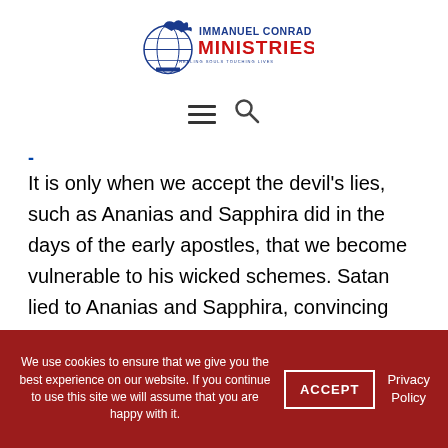[Figure (logo): Immanuel Conrad Ministries logo with globe and dove icon, red MINISTRIES text, blue IMMANUEL CONRAD text, tagline HEALING SOULS TOUCHING LIVES]
[Figure (other): Hamburger menu icon and search icon for website navigation]
-
It is only when we accept the devil’s lies, such as Ananias and Sapphira did in the days of the early apostles, that we become vulnerable to his wicked schemes. Satan lied to Ananias and Sapphira, convincing them that if they held back part of the price they received for their land, they would somehow be better off than giving it all to the
We use cookies to ensure that we give you the best experience on our website. If you continue to use this site we will assume that you are happy with it.  ACCEPT  Privacy Policy